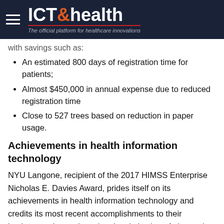ICT&health – The official platform for healthcare innovations
with savings such as:
An estimated 800 days of registration time for patients;
Almost $450,000 in annual expense due to reduced registration time
Close to 527 trees based on reduction in paper usage.
Achievements in health information technology
NYU Langone, recipient of the 2017 HIMSS Enterprise Nicholas E. Davies Award, prides itself on its achievements in health information technology and credits its most recent accomplishments to their implementation and continual optimization of electronic health record systems. In addition to paperless registration, NYU Langone has derived significant value